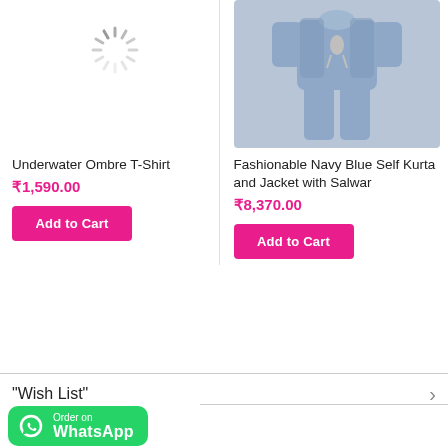[Figure (illustration): Loading spinner graphic (circular dashed loader) for product image placeholder]
[Figure (photo): Children's navy blue kurta and jacket with salwar outfit on light blue background]
Underwater Ombre T-Shirt
₹1,590.00
Add to Cart
Fashionable Navy Blue Self Kurta and Jacket with Salwar
₹8,370.00
Add to Cart
"Wish List"
[Figure (logo): WhatsApp Order on WhatsApp button with green background and WhatsApp logo]